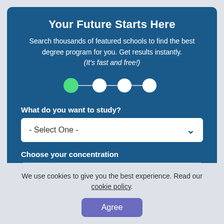Your Future Starts Here
Search thousands of featured schools to find the best degree program for you. Get results instantly. (It's fast and free!)
[Figure (infographic): Step progress indicator with 4 circles connected by lines. First circle is filled green (active), remaining three are white (inactive).]
What do you want to study?
- Select One -
Choose your concentration
- Select One -
We use cookies to give you the best experience. Read our cookie policy.
Agree